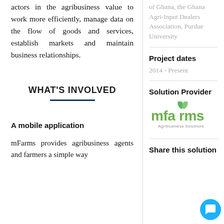actors in the agribusiness value to work more efficiently, manage data on the flow of goods and services, establish markets and maintain business relationships.
WHAT'S INVOLVED
A mobile application
mFarms provides agribusiness agents and farmers a simple way
of Ghana, the Ghana Agri-Input Dealers Association, Purdue University
Project dates
2014 - Present
Solution Provider
[Figure (logo): mFarms Agribusiness Solutions logo — stylized green leaf letters 'mfarms' with tagline 'Agribusiness Solutions']
Share this solution